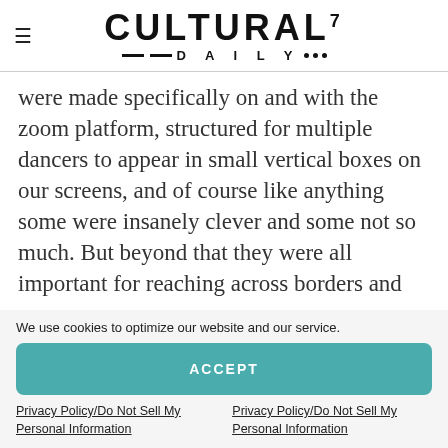Cultural Daily
were made specifically on and with the zoom platform, structured for multiple dancers to appear in small vertical boxes on our screens, and of course like anything some were insanely clever and some not so much. But beyond that they were all important for reaching across borders and
We use cookies to optimize our website and our service.
ACCEPT
Privacy Policy/Do Not Sell My Personal Information
Privacy Policy/Do Not Sell My Personal Information